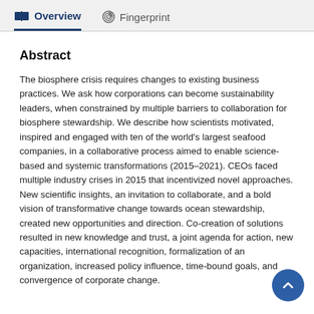Overview   Fingerprint
Abstract
The biosphere crisis requires changes to existing business practices. We ask how corporations can become sustainability leaders, when constrained by multiple barriers to collaboration for biosphere stewardship. We describe how scientists motivated, inspired and engaged with ten of the world's largest seafood companies, in a collaborative process aimed to enable science-based and systemic transformations (2015–2021). CEOs faced multiple industry crises in 2015 that incentivized novel approaches. New scientific insights, an invitation to collaborate, and a bold vision of transformative change towards ocean stewardship, created new opportunities and direction. Co-creation of solutions resulted in new knowledge and trust, a joint agenda for action, new capacities, international recognition, formalization of an organization, increased policy influence, time-bound goals, and convergence of corporate change.